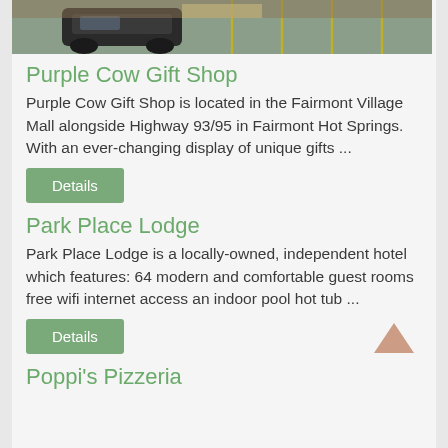[Figure (photo): Partial top view of a parking lot with a black car and yellow parking lines in front of a commercial building (cropped at top)]
Purple Cow Gift Shop
Purple Cow Gift Shop is located in the Fairmont Village Mall alongside Highway 93/95 in Fairmont Hot Springs. With an ever-changing display of unique gifts ...
Details
Park Place Lodge
Park Place Lodge is a locally-owned, independent hotel which features: 64 modern and comfortable guest rooms free wifi internet access an indoor pool hot tub ...
Details
Poppi's Pizzeria